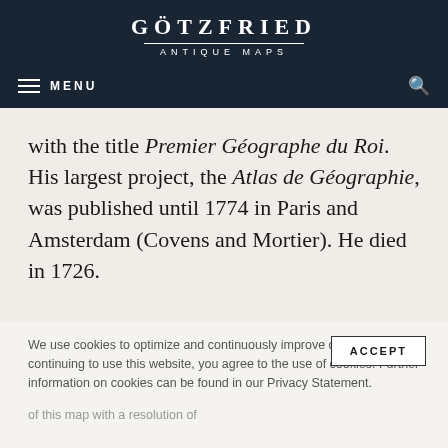GÖTZFRIED ANTIQUE MAPS
with the title Premier Géographe du Roi. His largest project, the Atlas de Géographie, was published until 1774 in Paris and Amsterdam (Covens and Mortier). He died in 1726.
We use cookies to optimize and continuously improve our website. By continuing to use this website, you agree to the use of cookies. Further information on cookies can be found in our Privacy Statement.
IMAGES TO DOWNLOAD
of this map with a resolution of